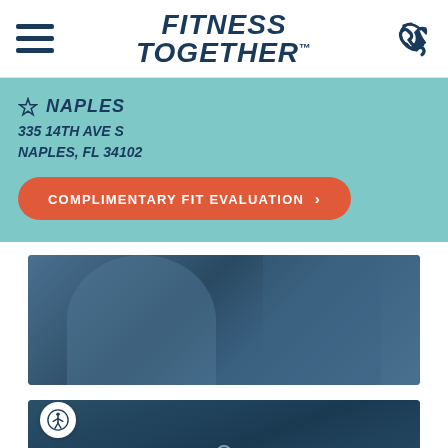[Figure (logo): Fitness Together logo with hamburger menu icon on left and phone icon on right]
NAPLES
335 14TH AVE S
NAPLES, FL 34102
COMPLIMENTARY FIT EVALUATION >
[Figure (photo): Gym photo showing people exercising, dark teal toned]
[Figure (photo): Second gym photo with dark teal overlay and accessibility icon]